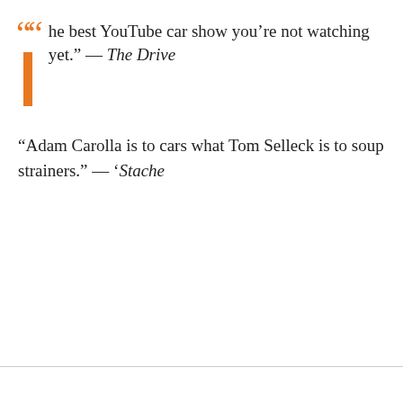“he best YouTube car show you’re not watching yet.” — The Drive
“Adam Carolla is to cars what Tom Selleck is to soup strainers.” — ‘Stache